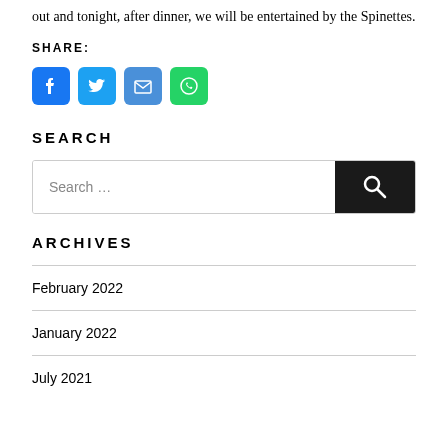out and tonight, after dinner, we will be entertained by the Spinettes.
SHARE:
[Figure (infographic): Social share buttons: Facebook (blue), Twitter (light blue), Email (blue), WhatsApp (green)]
SEARCH
Search ...
ARCHIVES
February 2022
January 2022
July 2021